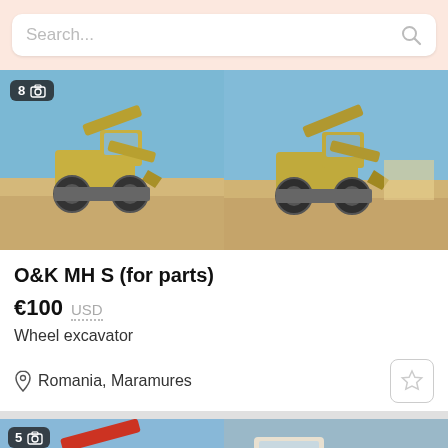Search...
[Figure (photo): Wheel excavator O&K MH S parked on dirt, blue sky, image count badge showing 8 photos]
[Figure (photo): Same wheel excavator O&K MH S from a slightly different angle, blue sky]
O&K MH S (for parts)
€100  USD
Wheel excavator
Romania, Maramures
[Figure (photo): Partially visible excavator listing below, 5 photos badge, red arm visible]
[Figure (photo): Partially visible second listing, orange cab excavator]